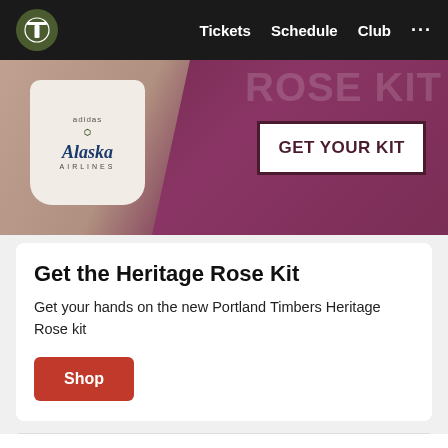Portland Timbers — Tickets  Schedule  Club  ...
[Figure (photo): Portland Timbers Heritage Rose Kit banner. Player wearing white Alaska Airlines jersey on dark rose/maroon background with 'ROSE KIT' text and 'GET YOUR KIT' call-to-action button.]
Get the Heritage Rose Kit
Get your hands on the new Portland Timbers Heritage Rose kit
Shop
5 key stats ahead of the clash with SKC
Join us for Sunday's game at Hopworks Urban Brewery